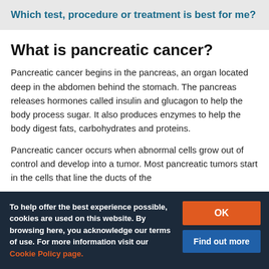Which test, procedure or treatment is best for me?
What is pancreatic cancer?
Pancreatic cancer begins in the pancreas, an organ located deep in the abdomen behind the stomach. The pancreas releases hormones called insulin and glucagon to help the body process sugar. It also produces enzymes to help the body digest fats, carbohydrates and proteins.
Pancreatic cancer occurs when abnormal cells grow out of control and develop into a tumor. Most pancreatic tumors start in the cells that line the ducts of the
To help offer the best experience possible, cookies are used on this website. By browsing here, you acknowledge our terms of use. For more information visit our Cookie Policy page.
pancreatic cancer affects about 46,000 Americans a